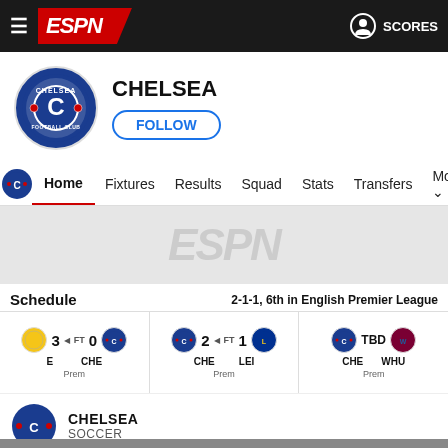ESPN — SCORES
CHELSEA
FOLLOW
[Figure (screenshot): Chelsea FC team logo — blue circular badge with lion crest]
Home  Fixtures  Results  Squad  Stats  Transfers  More
[Figure (logo): ESPN watermark in light grey on grey background]
Schedule
2-1-1, 6th in English Premier League
| Team A | Score | FT | Score | Team B | Competition |
| --- | --- | --- | --- | --- | --- |
| 3 | ◄ FT | 0 | CHE | Prem |  |
| CHE | 2 | ◄ FT | 1 | LEI | Prem |
| CHE | TBD | WHU | Prem |  |  |
CHELSEA
SOCCER
[Figure (photo): Dark photo strip showing partial image of a person]